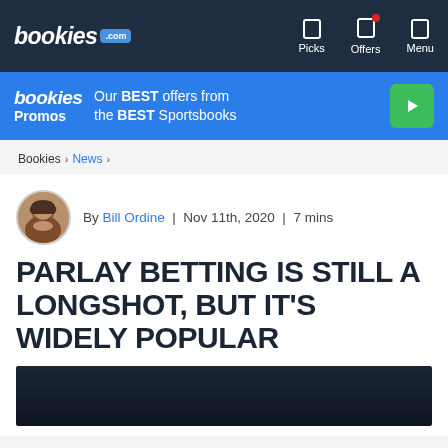bookies.com | Picks | Offers | Menu
[Figure (screenshot): bookies Promos banner: Our BEST offers from the BEST Sportsbooks]
Bookies > News >
By Bill Ordine | Nov 11th, 2020 | 7 mins
PARLAY BETTING IS STILL A LONGSHOT, BUT IT'S WIDELY POPULAR
[Figure (photo): Dark article header image (partially visible)]